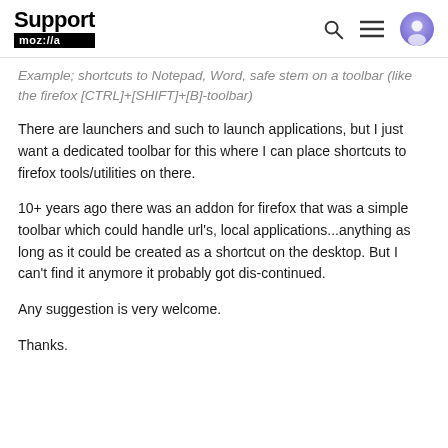Support mozilla://a
Example; shortcuts to Notepad, Word, safe stem on a toolbar (like the firefox [CTRL]+[SHIFT]+[B]-toolbar)
There are launchers and such to launch applications, but I just want a dedicated toolbar for this where I can place shortcuts to firefox tools/utilities on there.
10+ years ago there was an addon for firefox that was a simple toolbar which could handle url's, local applications...anything as long as it could be created as a shortcut on the desktop. But I can't find it anymore it probably got dis-continued.
Any suggestion is very welcome.
Thanks.